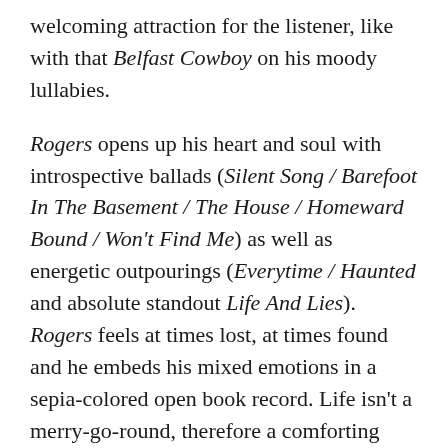welcoming attraction for the listener, like with that Belfast Cowboy on his moody lullabies.
Rogers opens up his heart and soul with introspective ballads (Silent Song / Barefoot In The Basement / The House / Homeward Bound / Won't Find Me) as well as energetic outpourings (Everytime / Haunted and absolute standout Life And Lies). Rogers feels at times lost, at times found and he embeds his mixed emotions in a sepia-colored open book record. Life isn't a merry-go-round, therefore a comforting voice like Rogers' can be a great companion to have around.
Singles/clips: Life and Lies / Everytime